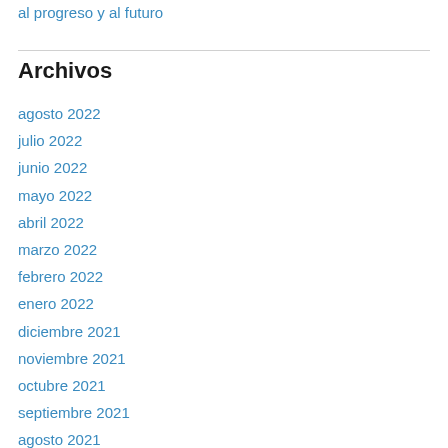al progreso y al futuro
Archivos
agosto 2022
julio 2022
junio 2022
mayo 2022
abril 2022
marzo 2022
febrero 2022
enero 2022
diciembre 2021
noviembre 2021
octubre 2021
septiembre 2021
agosto 2021
julio 2021
junio 2021